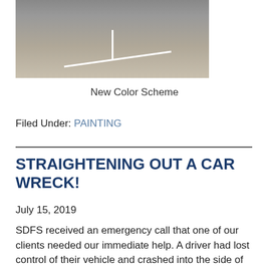[Figure (photo): Photo of a parking lot with cars and white painted lines on asphalt, partially visible vehicles in background]
New Color Scheme
Filed Under: PAINTING
STRAIGHTENING OUT A CAR WRECK!
July 15, 2019
SDFS received an emergency call that one of our clients needed our immediate help. A driver had lost control of their vehicle and crashed into the side of their building